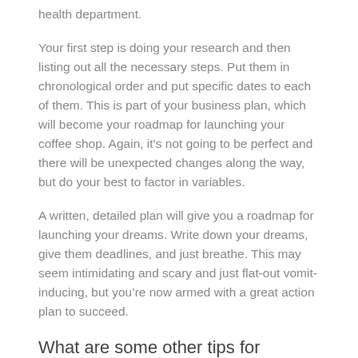health department.
Your first step is doing your research and then listing out all the necessary steps. Put them in chronological order and put specific dates to each of them. This is part of your business plan, which will become your roadmap for launching your coffee shop. Again, it's not going to be perfect and there will be unexpected changes along the way, but do your best to factor in variables.
A written, detailed plan will give you a roadmap for launching your dreams. Write down your dreams, give them deadlines, and just breathe. This may seem intimidating and scary and just flat-out vomit-inducing, but you're now armed with a great action plan to succeed.
What are some other tips for planning your dreams? Share your stories through the Comments. I'd love to hear from you.